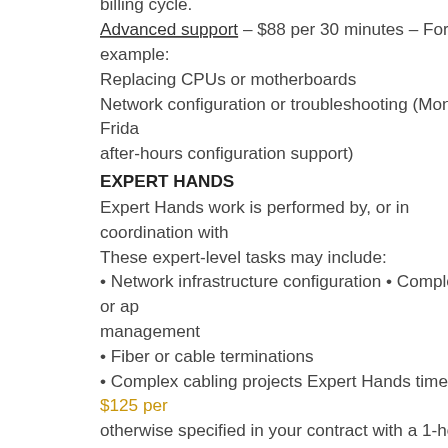billing cycle.
Advanced support – $88 per 30 minutes – For example:
Replacing CPUs or motherboards
Network configuration or troubleshooting (Monday to Friday after-hours configuration support)
EXPERT HANDS
Expert Hands work is performed by, or in coordination with These expert-level tasks may include:
• Network infrastructure configuration • Complex OS or ap management
• Fiber or cable terminations
• Complex cabling projects Expert Hands time is $125 per otherwise specified in your contract with a 1-hour minimum. DTS-NET support specialists are able to quickly review and support ability of your requests 24x7x365. Expert Hands t and subject matter expertise.
Phone 9104919611
Live Chat & Help Desk